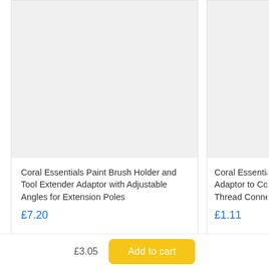[Figure (photo): Product image placeholder - light grey rectangle for Coral Essentials Paint Brush Holder]
Coral Essentials Paint Brush Holder and Tool Extender Adaptor with Adjustable Angles for Extension Poles
£7.20
[Figure (photo): Product image placeholder - light grey rectangle for Coral Essentials Extension Adaptor (partially visible)]
Coral Essentials Extension Adaptor to Convert Thread Connection
£1.11
£3.05
Add to cart